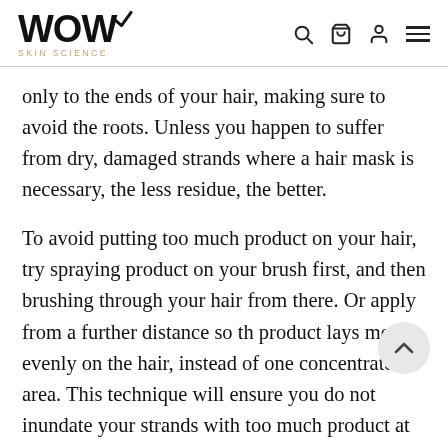WOW SKIN SCIENCE
only to the ends of your hair, making sure to avoid the roots. Unless you happen to suffer from dry, damaged strands where a hair mask is necessary, the less residue, the better.
To avoid putting too much product on your hair, try spraying product on your brush first, and then brushing through your hair from there. Or apply from a further distance so th product lays more evenly on the hair, instead of one concentrated area. This technique will ensure you do not inundate your strands with too much product at once, as you can always